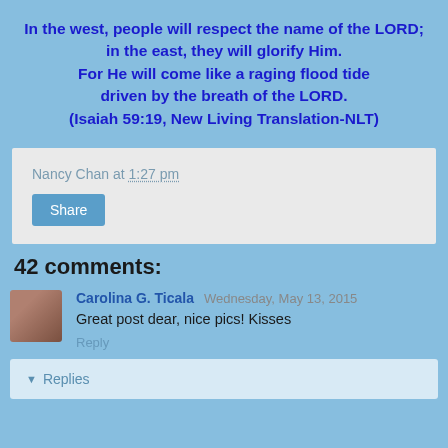In the west, people will respect the name of the LORD; in the east, they will glorify Him. For He will come like a raging flood tide driven by the breath of the LORD. (Isaiah 59:19, New Living Translation-NLT)
Nancy Chan at 1:27 pm
Share
42 comments:
[Figure (photo): Small avatar photo of Carolina G. Ticala]
Carolina G. Ticala Wednesday, May 13, 2015
Great post dear, nice pics! Kisses
Reply
Replies